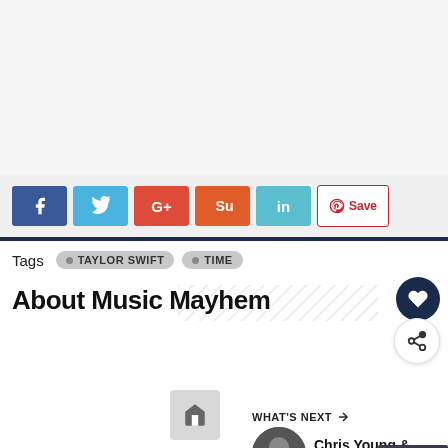[Figure (other): Advertisement area at top of page, light gray background]
[Figure (infographic): Social share buttons: Facebook (blue), Twitter (light blue), Google+ (red), StumbleUpon (orange-red), LinkedIn (teal), Pinterest Save (white/red)]
Tags   TAYLOR SWIFT   TIME
About Music Mayhem
[Figure (other): Home icon button and What's Next panel with Chris Young & Kane Brown thumbnail and scroll-up button]